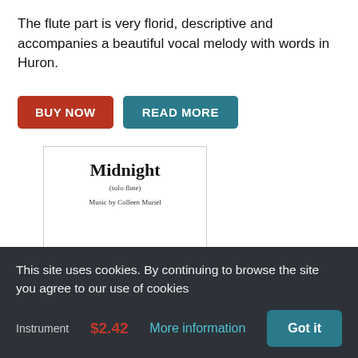The flute part is very florid, descriptive and accompanies a beautiful vocal melody with words in Huron.
[Figure (illustration): Sheet music cover page for 'Midnight' by Colleen Muriel, publisher El Flame Records, www.elflame.ca]
Midnight (download)
This site uses cookies. By continuing to browse the site you agree to our use of cookies
Instrument
$2.42
More information
Got it